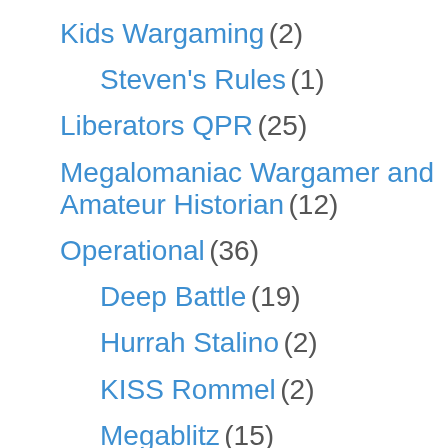Kids Wargaming (2)
Steven's Rules (1)
Liberators QPR (25)
Megalomaniac Wargamer and Amateur Historian (12)
Operational (36)
Deep Battle (19)
Hurrah Stalino (2)
KISS Rommel (2)
Megablitz (15)
PanzerGruppe (3)
Rapier Offensive (5)
Other Rules (129)